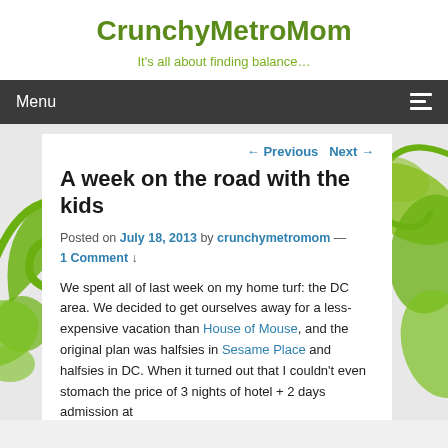CrunchyMetroMom
It's all about finding balance…
Menu
← Previous   Next →
A week on the road with the kids
Posted on July 18, 2013 by crunchymetromom — 1 Comment ↓
We spent all of last week on my home turf: the DC area. We decided to get ourselves away for a less-expensive vacation than House of Mouse, and the original plan was halfsies in Sesame Place and halfsies in DC. When it turned out that I couldn't even stomach the price of 3 nights of hotel + 2 days admission at